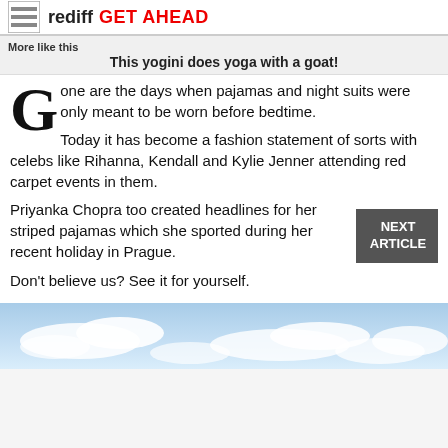rediff GET AHEAD
More like this
This yogini does yoga with a goat!
Gone are the days when pajamas and night suits were only meant to be worn before bedtime.
Today it has become a fashion statement of sorts with celebs like Rihanna, Kendall and Kylie Jenner attending red carpet events in them.
Priyanka Chopra too created headlines for her striped pajamas which she sported during her recent holiday in Prague.
Don't believe us? See it for yourself.
[Figure (photo): Partial photo showing blue sky with clouds at the bottom of the page]